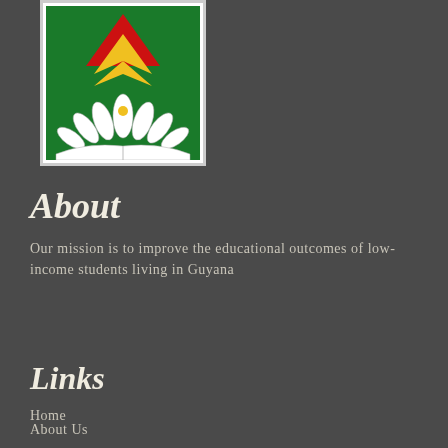[Figure (logo): Guyanese educational organization logo featuring a white lotus flower over an open book, with red and yellow chevron/arrow shapes on a green background, framed in white]
About
Our mission is to improve the educational outcomes of low-income students living in Guyana
SUBSCRIBE
Links
Home
About Us
Ways to Give
Impact and Projects